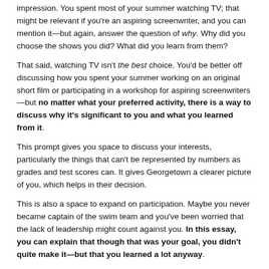impression. You spent most of your summer watching TV; that might be relevant if you're an aspiring screenwriter, and you can mention it—but again, answer the question of why. Why did you choose the shows you did? What did you learn from them?
That said, watching TV isn't the best choice. You'd be better off discussing how you spent your summer working on an original short film or participating in a workshop for aspiring screenwriters—but no matter what your preferred activity, there is a way to discuss why it's significant to you and what you learned from it.
This prompt gives you space to discuss your interests, particularly the things that can't be represented by numbers as grades and test scores can. It gives Georgetown a clearer picture of you, which helps in their decision.
This is also a space to expand on participation. Maybe you never became captain of the swim team and you've been worried that the lack of leadership might count against you. In this essay, you can explain that though that was your goal, you didn't quite make it—but that you learned a lot anyway.